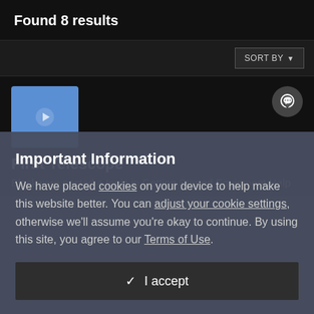Found 8 results
SORT BY
[Figure (screenshot): Blue thumbnail image placeholder for First Telescope result]
First Telescope
Blackware posted a topic in Getting Started Equipment Help
Important Information
We have placed cookies on your device to help make this website better. You can adjust your cookie settings, otherwise we'll assume you're okay to continue. By using this site, you agree to our Terms of Use.
✓  I accept